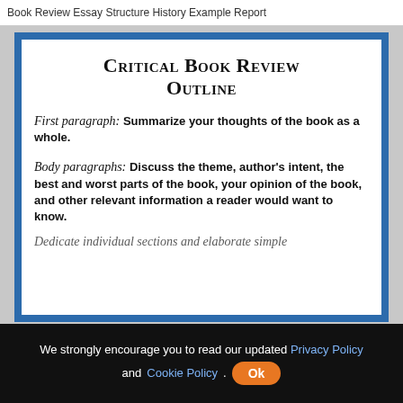Book Review Essay Structure History Example Report
Critical Book Review Outline
First paragraph: Summarize your thoughts of the book as a whole.
Body paragraphs: Discuss the theme, author's intent, the best and worst parts of the book, your opinion of the book, and other relevant information a reader would want to know.
[partial line visible at bottom]
We strongly encourage you to read our updated Privacy Policy and Cookie Policy. Ok